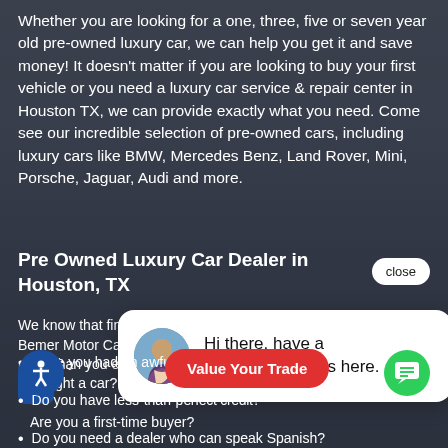Whether you are looking for a one, three, five or seven year old pre-owned luxury car, we can help you get it and save money! It doesn't matter if you are looking to buy your first vehicle or you need a luxury car service & repair center in Houston TX, we can provide exactly what you need. Come see our incredible selection of pre-owned cars, including luxury cars like BMW, Mercedes Benz, Land Rover, Mini, Porsche, Jaguar, Audi and more.
Pre Owned Luxury Car Dealer in Houston, TX
We know that fin... Bemer Motor Ca... more than you e...
[Figure (screenshot): Chat bubble popup with avatar of a woman and text: Hi there, have a question? Text us here. Close button visible.]
Have you had an awful experience when you bought a car?
Do you have less-than-perfect credit?
Are you a first-time buyer?
Do you need a dealer who can speak Spanish?